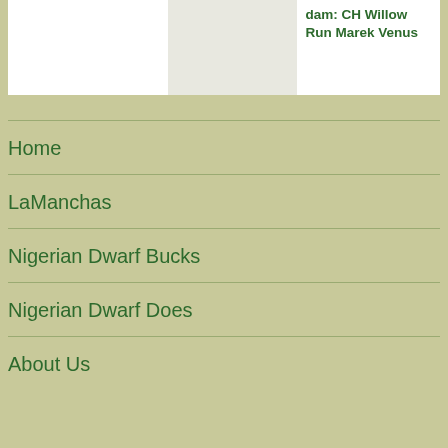dam: CH Willow Run Marek Venus
Home
LaManchas
Nigerian Dwarf Bucks
Nigerian Dwarf Does
About Us